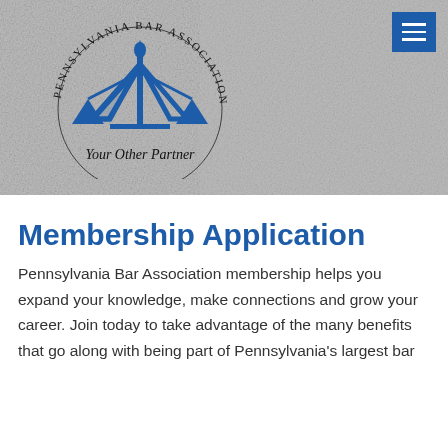[Figure (logo): Pennsylvania Bar Association banner with scales of justice logo, circular text reading 'PENNSYLVANIA BAR ASSOCIATION', and italic tagline 'Your Other Partner'. Background shows a grayscale photo of a mask/fabric texture.]
Membership Application
Pennsylvania Bar Association membership helps you expand your knowledge, make connections and grow your career. Join today to take advantage of the many benefits that go along with being part of Pennsylvania's largest bar